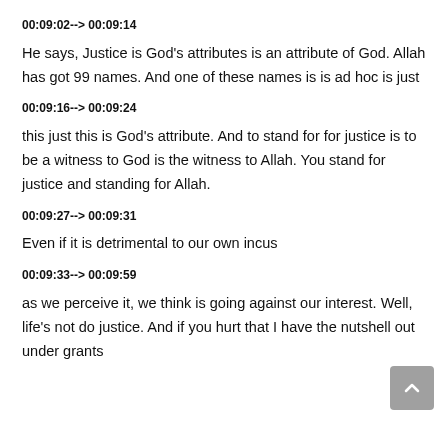00:09:02--> 00:09:14
He says, Justice is God's attributes is an attribute of God. Allah has got 99 names. And one of these names is is ad hoc is just
00:09:16--> 00:09:24
this just this is God's attribute. And to stand for for justice is to be a witness to God is the witness to Allah. You stand for justice and standing for Allah.
00:09:27--> 00:09:31
Even if it is detrimental to our own incus
00:09:33--> 00:09:59
as we perceive it, we think is going against our interest. Well, life's not do justice. And if you hurt that I have the nutshell out under grants